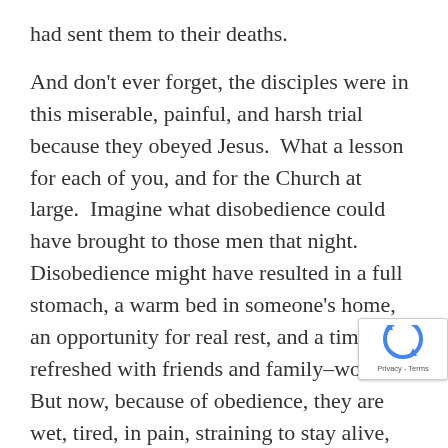had sent them to their deaths.
And don't ever forget, the disciples were in this miserable, painful, and harsh trial because they obeyed Jesus.  What a lesson for each of you, and for the Church at large.  Imagine what disobedience could have brought to those men that night.  Disobedience might have resulted in a full stomach, a warm bed in someone's home, an opportunity for real rest, and a time to be refreshed with friends and family–wow!  But now, because of obedience, they are wet, tired, in pain, straining to stay alive, exhausted and now forced to remain awake all night long.
Wow Chris, that isn't too motivating.  Let me put it this way–never play baseball and you will never strike out, but you'll also never hit a homerun or win the game for your team.  Resist the Lord–do not obey the obvious commands of the New Testament, and you may miss some of life's controversies, but you…